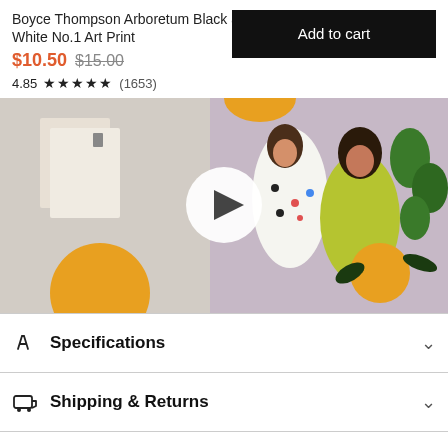Boyce Thompson Arboretum Black and White No.1 Art Print
$10.50 $15.00
4.85 ★★★★★ (1653)
Add to cart
[Figure (screenshot): Video thumbnail showing illustrated artwork with two women holding plants, one in yellow dress, against a lavender background, with a play button overlay]
Specifications
Shipping & Returns
Questions & Answers
Reviews